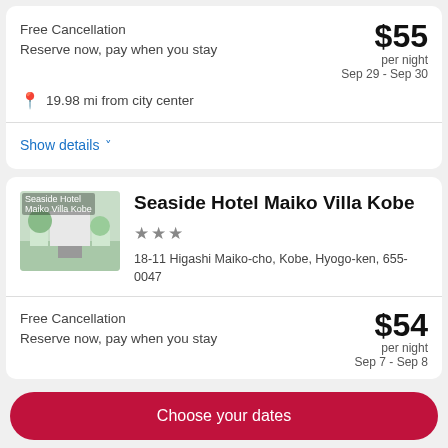Free Cancellation
Reserve now, pay when you stay
$55 per night Sep 29 - Sep 30
19.98 mi from city center
Show details
Seaside Hotel Maiko Villa Kobe
★★★
18-11 Higashi Maiko-cho, Kobe, Hyogo-ken, 655-0047
Free Cancellation
Reserve now, pay when you stay
$54 per night Sep 7 - Sep 8
Choose your dates